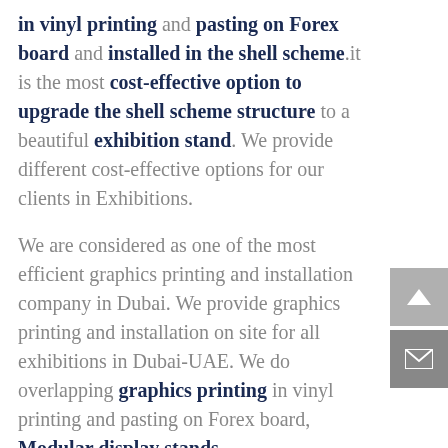in vinyl printing and pasting on Forex board and installed in the shell scheme.it is the most cost-effective option to upgrade the shell scheme structure to a beautiful exhibition stand. We provide different cost-effective options for our clients in Exhibitions.
We are considered as one of the most efficient graphics printing and installation company in Dubai. We provide graphics printing and installation on site for all exhibitions in Dubai-UAE. We do overlapping graphics printing in vinyl printing and pasting on Forex board, Modular display stands,